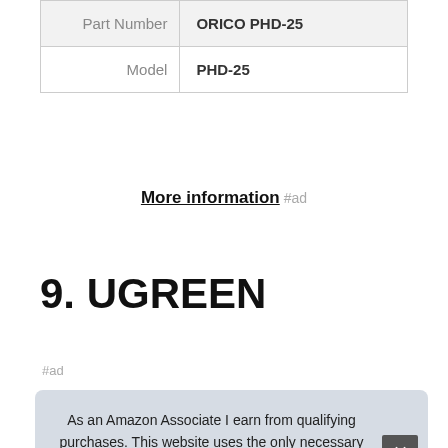|  |  |
| --- | --- |
| Part Number | ORICO PHD-25 |
| Model | PHD-25 |
More information #ad
9. UGREEN
#ad
As an Amazon Associate I earn from qualifying purchases. This website uses the only necessary cookies to ensure you get the best experience on our website. More information